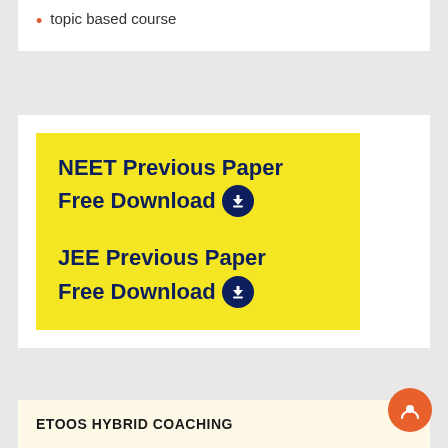topic based course
[Figure (infographic): Yellow box with dark navy bold text: 'NEET Previous Paper Free Download' with download icon, and 'JEE Previous Paper Free Download' with download icon]
ETOOS HYBRID COACHING